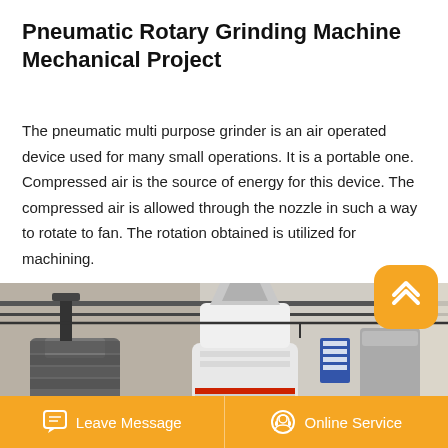Pneumatic Rotary Grinding Machine Mechanical Project
The pneumatic multi purpose grinder is an air operated device used for many small operations. It is a portable one. Compressed air is the source of energy for this device. The compressed air is allowed through the nozzle in such a way to rotate to fan. The rotation obtained is utilized for machining.
[Figure (photo): Industrial pneumatic rotary grinding machine equipment in a factory setting, showing large cylindrical white grinder unit with metal components and pipes overhead]
[Figure (other): Orange button with upward chevron/arrow icon for scroll-to-top or navigation]
Leave Message   Online Service